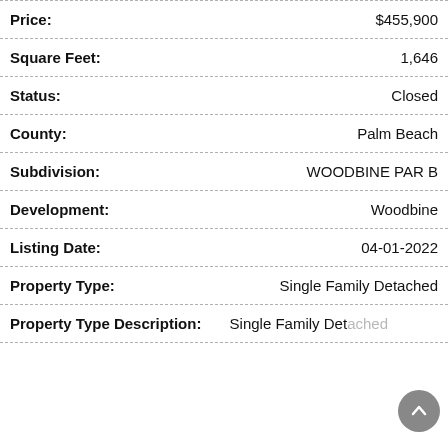| Field | Value |
| --- | --- |
| Price: | $455,900 |
| Square Feet: | 1,646 |
| Status: | Closed |
| County: | Palm Beach |
| Subdivision: | WOODBINE PAR B |
| Development: | Woodbine |
| Listing Date: | 04-01-2022 |
| Property Type: | Single Family Detached |
| Property Type Description: | Single Family Detached |